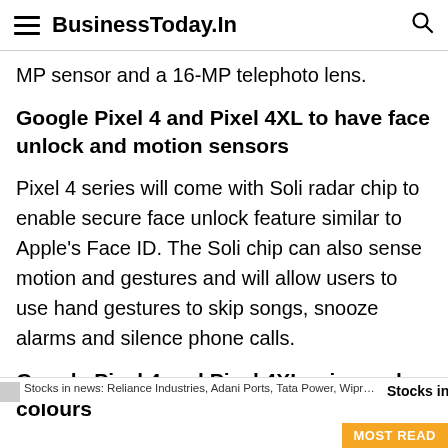BusinessToday.In
MP sensor and a 16-MP telephoto lens.
Google Pixel 4 and Pixel 4XL to have face unlock and motion sensors
Pixel 4 series will come with Soli radar chip to enable secure face unlock feature similar to Apple's Face ID. The Soli chip can also sense motion and gestures and will allow users to use hand gestures to skip songs, snooze alarms and silence phone calls.
Google Pixel 4 and Pixel 4XL price and colours
Stocks in news: Reliance Industries, Adani Ports, Tata Power, Wipro and more   Stocks in n...
MOST READ